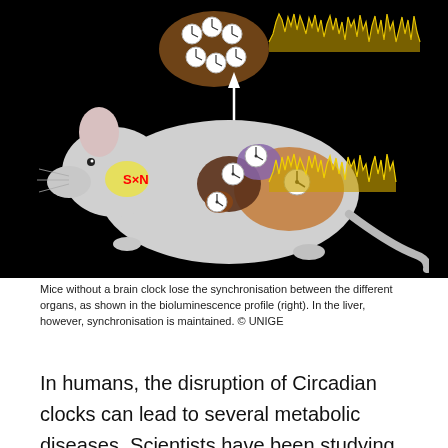[Figure (illustration): Scientific illustration on black background showing a mouse with internal organs visible (liver, brain, etc.), each organ containing clock faces representing circadian clocks. A red X is shown on the SCN (suprachiasmatic nucleus) in the brain. An arrow points upward to a cluster of cells with clock faces at the top left. Yellow bioluminescence waveform graphs are shown on the right side at two vertical positions, indicating desynchronised organ rhythms.]
Mice without a brain clock lose the synchronisation between the different organs, as shown in the bioluminescence profile (right). In the liver, however, synchronisation is maintained. © UNIGE
In humans, the disruption of Circadian clocks can lead to several metabolic diseases. Scientists have been studying this mechanism for many years; little is known about how it